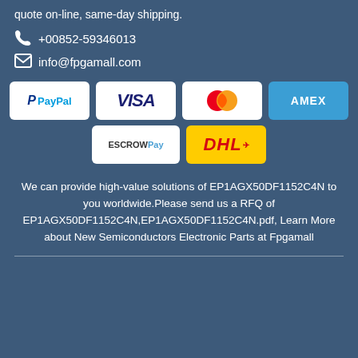quote on-line, same-day shipping.
+00852-59346013
info@fpgamall.com
[Figure (infographic): Payment method logos: PayPal, VISA, Mastercard, AMEX, ESCROWPay, DHL]
We can provide high-value solutions of EP1AGX50DF1152C4N to you worldwide.Please send us a RFQ of EP1AGX50DF1152C4N,EP1AGX50DF1152C4N.pdf, Learn More about New Semiconductors Electronic Parts at Fpgamall